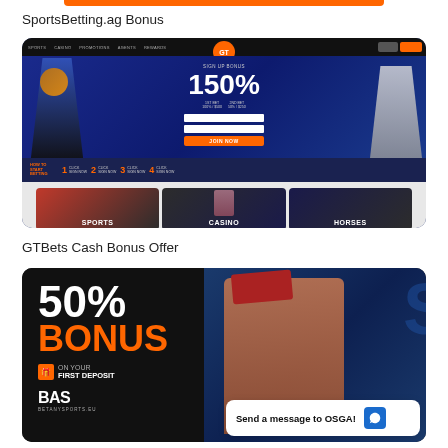SportsBetting.ag Bonus
[Figure (screenshot): GTBets website screenshot showing 150% sign-up bonus offer with basketball and baseball player images, form fields, JOIN NOW button, HOW TO START BETTING steps bar, and Sports/Casino/Horses tiles at the bottom]
GTBets Cash Bonus Offer
[Figure (screenshot): BetAnySports.eu (BAS) website screenshot showing 50% BONUS on your first deposit promotion with baseball player image]
Send a message to OSGA!